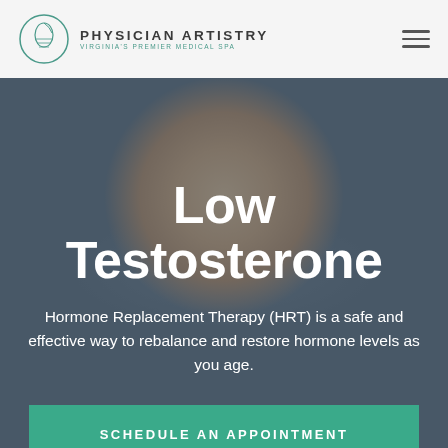PHYSICIAN ARTISTRY — VIRGINIA'S PREMIER MEDICAL SPA
Low Testosterone
Hormone Replacement Therapy (HRT) is a safe and effective way to rebalance and restore hormone levels as you age.
SCHEDULE AN APPOINTMENT